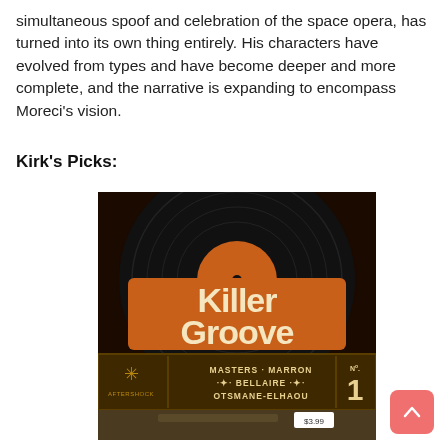simultaneous spoof and celebration of the space opera, has turned into its own thing entirely. His characters have evolved from types and have become deeper and more complete, and the narrative is expanding to encompass Moreci's vision.
Kirk's Picks:
[Figure (illustration): Comic book cover for 'Killer Groove' No. 1, published by Aftershock. Dark background with a large vinyl record. The title 'Killer Groove' is displayed in large retro orange and cream lettering. Bottom section lists creators: MASTERS · MARRON · BELLAIRE · OTSMANE-ELHAOU. Price tag shows $3.99. Lower portion shows a figure holding a chainsaw.]